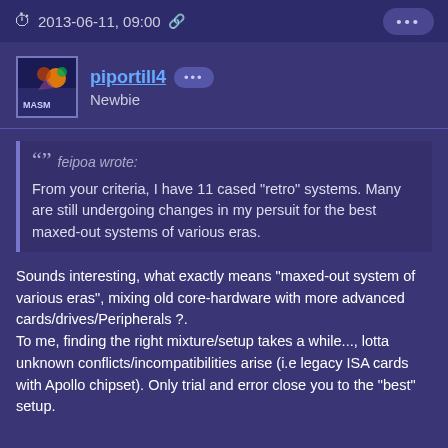2013-06-11, 09:00
piportill4 Newbie
feipoa wrote: From your criteria, I have 11 cased "retro" systems. Many are still undergoing changes in my persuit for the best maxed-out systems of various eras.
Sounds interesting, what exactly means "maxed-out system of various eras", mixing old core-hardware with more advanced cards/drives/Peripherals ?.
To me, finding the right mixture/setup takes a while..., lotta unknown conflicts/incompatibilities arise (i.e legacy ISA cards with Apollo chipset). Only trial and error close you to the "best" setup.